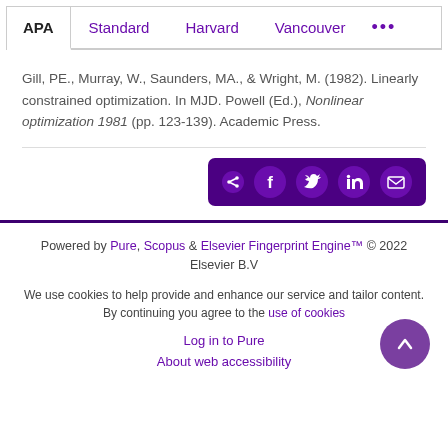APA | Standard | Harvard | Vancouver | ...
Gill, PE., Murray, W., Saunders, MA., & Wright, M. (1982). Linearly constrained optimization. In MJD. Powell (Ed.), Nonlinear optimization 1981 (pp. 123-139). Academic Press.
[Figure (other): Social share button bar with icons for share, Facebook, Twitter, LinkedIn, and email on a dark purple background]
Powered by Pure, Scopus & Elsevier Fingerprint Engine™ © 2022 Elsevier B.V
We use cookies to help provide and enhance our service and tailor content. By continuing you agree to the use of cookies
Log in to Pure
About web accessibility